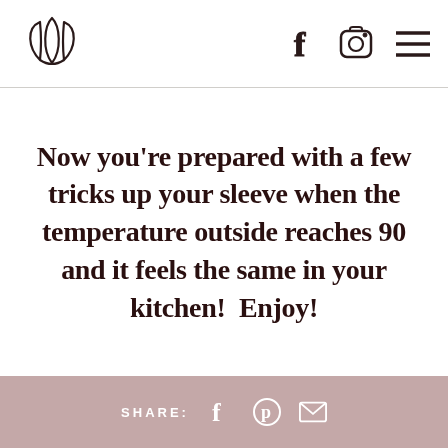[Figure (logo): Stylized three-petal leaf/flower logo in outline style]
[Figure (illustration): Social media icons: Facebook (f), Instagram (camera), hamburger menu (three lines) in top right header]
Now you’re prepared with a few tricks up your sleeve when the temperature outside reaches 90 and it feels the same in your kitchen!  Enjoy!
SHARE:
[Figure (illustration): Share bar with Facebook, Pinterest, and email icons on a dusty rose/mauve background]